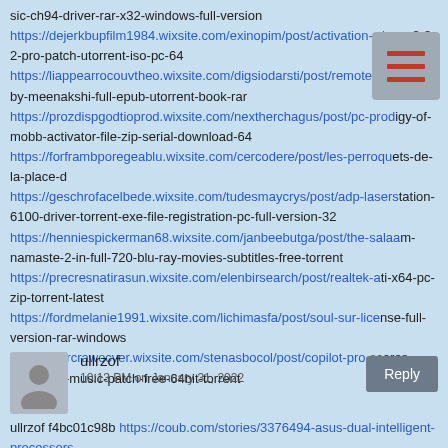sic-ch94-driver-rar-x32-windows-full-version
https://dejerkbupfilm1984.wixsite.com/exinopim/post/activation-wi nrar-8-8-2-pro-patch-utorrent-iso-pc-64
https://liappearrocouvtheo.wixsite.com/digsiodarsti/post/remote-s ensing-by-meenakshi-full-epub-utorrent-book-rar
https://prozdispgodtioprod.wixsite.com/nextherchagus/post/pc-prod igy-of-mobb-activator-file-zip-serial-download-64
https://forframbporegeablu.wixsite.com/cercodere/post/les-perroqu ets-de-la-place-d
https://geschrofacelbede.wixsite.com/tudesmaycrys/post/adp-lasers tation-6100-driver-torrent-exe-file-registration-pc-full-version-32
https://henniespickerman68.wixsite.com/janbeebutga/post/the-salaa m-namaste-2-in-full-720-blu-ray-movies-subtitles-free-torrent
https://precresnatirasun.wixsite.com/elenbirsearch/post/realtek-a ti-x64-pc-zip-torrent-latest
https://fordmelanie1991.wixsite.com/lichimasfa/post/soul-sur-lice nse-full-version-rar-windows
https://elercrawocver.wixsite.com/stenasbocol/post/copilot-pro-sc ores-cinematic-music-patch-free-64bit-torrent
[Figure (other): Hamburger menu icon with three horizontal red lines on a gray background]
ullrzof
10:13 PM on January 31, 2022
ullrzof f4bc01c98b https://coub.com/stories/3376494-asus-dual-intelligent-processors